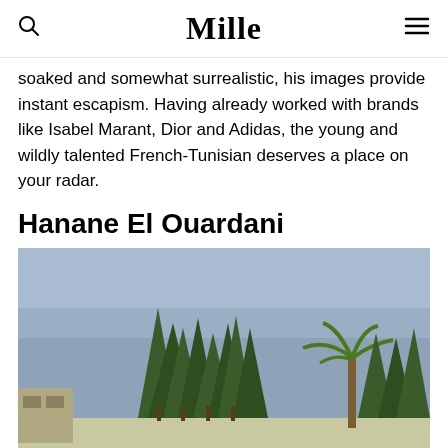Mille
soaked and somewhat surrealistic, his images provide instant escapism. Having already worked with brands like Isabel Marant, Dior and Adidas, the young and wildly talented French-Tunisian deserves a place on your radar.
Hanane El Ouardani
[Figure (photo): Outdoor photograph showing tall evergreen trees and a palm tree against a clear blue-grey sky, with a low building visible on the left edge.]